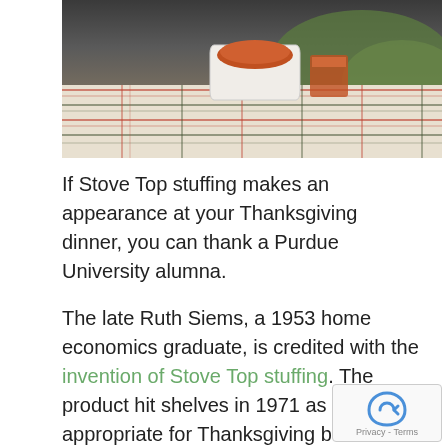[Figure (photo): Outdoor table covered with a plaid/tartan tablecloth, with a white bowl of food on top. Background shows greenery.]
If Stove Top stuffing makes an appearance at your Thanksgiving dinner, you can thank a Purdue University alumna.
The late Ruth Siems, a 1953 home economics graduate, is credited with the invention of Stove Top stuffing. The product hit shelves in 1971 as a dish appropriate for Thanksgiving but also for everyday meals. The secret behind the dish is the dimensions of the bread crumbs, which General Foods patented in 1975. Siems is listed first among the inventors, followed by Anthony